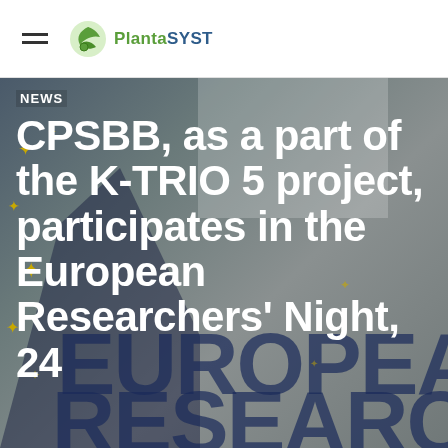PlantaSYST
[Figure (photo): Background image showing European Researchers Night event with EU flag elements, gold stars, a silhouette of a hand/person, and overlaid text reading EUROPEAN RESEAR in large dark blue letters]
NEWS
CPSBB, as a part of the K-TRIO 5 project, participates in the European Researchers' Night, 24